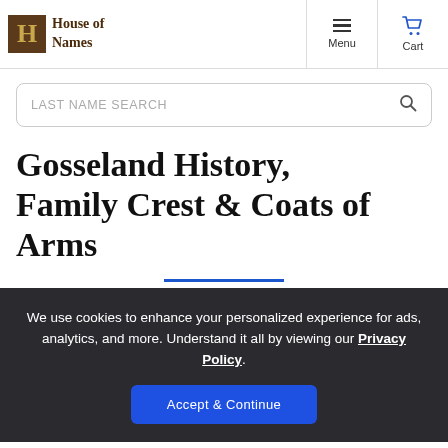House of Names — Menu | Cart navigation header
LAST NAME SEARCH
Gosseland History, Family Crest & Coats of Arms
We use cookies to enhance your personalized experience for ads, analytics, and more. Understand it all by viewing our Privacy Policy.
Accept & Continue